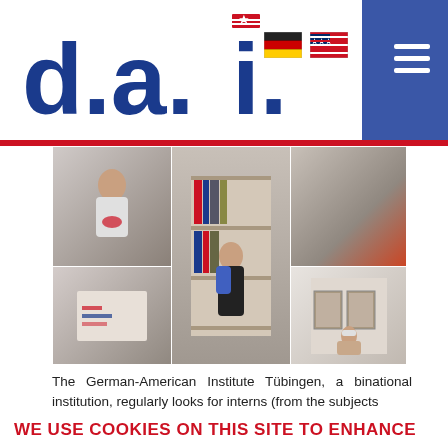[Figure (logo): d.a.i. logo in dark blue bold text with star and stripes icon in the letter i]
[Figure (photo): Collage of photos showing interns at the German-American Institute Tübingen: person holding patriotic bowl, table with decorations, person at bookshelf, person wearing mask working, person in gallery wearing mask]
The German-American Institute Tübingen, a binational institution, regularly looks for interns (from the subjects
WE USE COOKIES ON THIS SITE TO ENHANCE